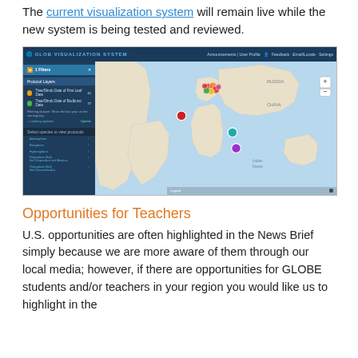The current visualization system will remain live while the new system is being tested and reviewed.
[Figure (screenshot): Screenshot of the GLOBE Visualization System showing a world map interface with a sidebar menu containing categories like Atmosphere, Biosphere, Hydrosphere, Pedosphere (Soil). The map shows data points clustered around Europe and the Middle East. The top navigation bar shows the GLOBE logo and user options.]
Opportunities for Teachers
U.S. opportunities are often highlighted in the News Brief simply because we are more aware of them through our local media; however, if there are opportunities for GLOBE students and/or teachers in your region you would like us to highlight in the